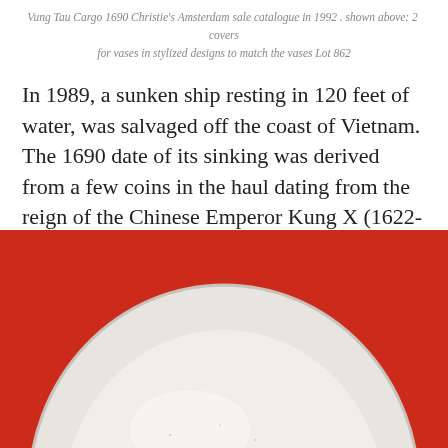Vung Tau Cargo 1690 Christie's Amsterdam sale catalogue in 1992 . shown above: 2 covers for vases in stylized designs to match the vases Lot 862
In 1989, a sunken ship resting in 120 feet of water, was salvaged off the coast of Vietnam. The 1690 date of its sinking was derived from a few coins in the haul dating from the reign of the Chinese Emperor Kung X (1622-1722). The ship had been bound for Jakarta, Indonesia.
[Figure (photo): A white ceramic plate or dish photographed from above against a bright red background. The plate appears to be oval or round shaped, white/porcelain colored, with a slightly raised rim visible.]